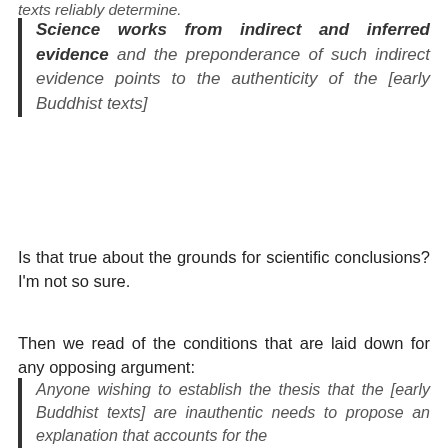texts reliably determine.
Science works from indirect and inferred evidence and the preponderance of such indirect evidence points to the authenticity of the [early Buddhist texts]
Is that true about the grounds for scientific conclusions? I'm not so sure.
Then we read of the conditions that are laid down for any opposing argument:
Anyone wishing to establish the thesis that the [early Buddhist texts] are inauthentic needs to propose an explanation that accounts for the